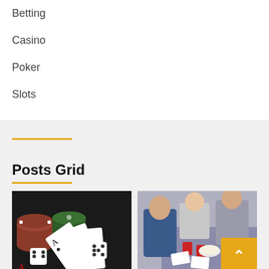Betting
Casino
Poker
Slots
Posts Grid
[Figure (photo): Casino chips, playing cards (aces), and dice on a dark surface]
[Figure (photo): People sitting on the ground playing a card game with red cups and snacks]